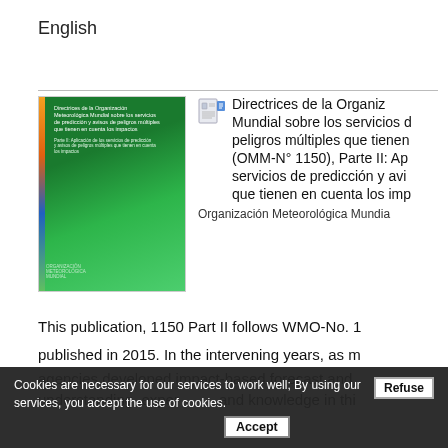English
[Figure (illustration): Green book cover of WMO publication Directrices de la Organización Meteorológica Mundial sobre los servicios de predicción y avisos de peligros múltiples que tienen en cuenta los impactos (OMM-N° 1150), with colored spine stripes and WMO logo at bottom left.]
Directrices de la Organización Meteorológica Mundial sobre los servicios de predicción y avisos de peligros múltiples que tienen en cuenta los impactos (OMM-N° 1150), Parte II: Aplicación de servicios de predicción y avisos de peligros múltiples que tienen en cuenta los impactos
Organización Meteorológica Mundial
This publication, 1150 Part II follows WMO-No. 1
published in 2015. In the intervening years, as m
agencies developed impact-based forecast and
understanding, experience and knowledge in thi
Cookies are necessary for our services to work well; By using our services, you accept the use of cookies.
Refuse
Accept